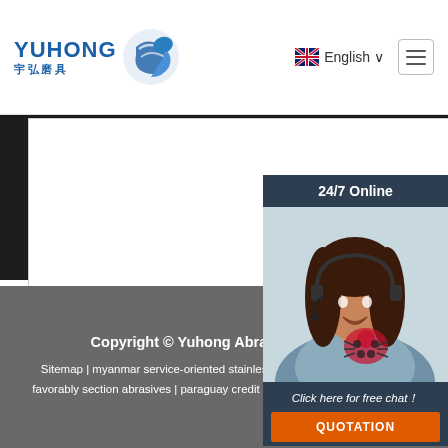[Figure (logo): Yuhong abrasive company logo with Chinese characters and blue wave graphic]
English ∨
[Figure (screenshot): Website interface showing submit form area with dark background and white input box]
Submit Now
[Figure (photo): 24/7 Online chat widget showing woman with headset, Click here for free chat!, QUOTATION button]
Copyright © Yuhong Abrasive Co., Ltd.
Sitemap | myanmar service-oriented stainless cuttiwheel | ecuador large favorably section abrasives | paraguay credit gua antee chrome cutting discs